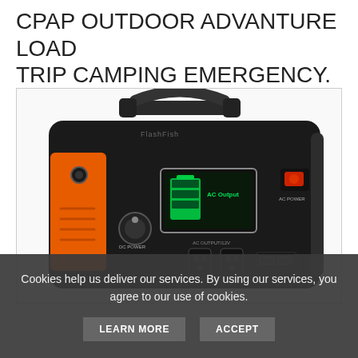CPAP OUTDOOR ADVANTURE LOAD TRIP CAMPING EMERGENCY.
[Figure (photo): Portable power station / battery generator (FlashFish brand) with black and orange casing, carrying handle on top, DC POWER knob, LCD display showing green battery icon and AC Output label, red AC POWER switch, and AC OUTPUT/12V outlets on the front panel.]
Cookies help us deliver our services. By using our services, you agree to our use of cookies.
LEARN MORE
ACCEPT